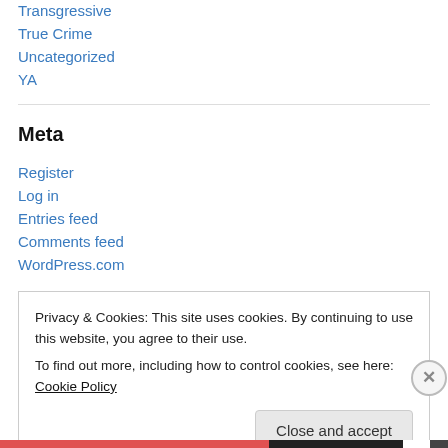Transgressive
True Crime
Uncategorized
YA
Meta
Register
Log in
Entries feed
Comments feed
WordPress.com
Privacy & Cookies: This site uses cookies. By continuing to use this website, you agree to their use.
To find out more, including how to control cookies, see here: Cookie Policy
Close and accept